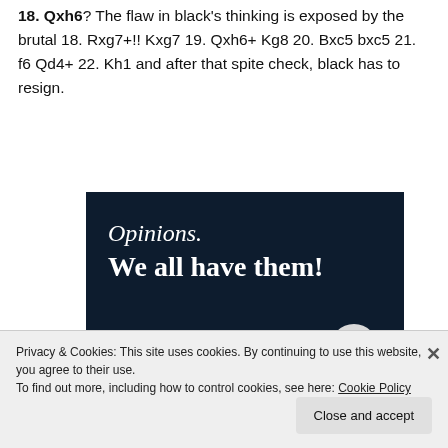18. Qxh6? The flaw in black's thinking is exposed by the brutal 18. Rxg7+!! Kxg7 19. Qxh6+ Kg8 20. Bxc5 bxc5 21. f6 Qd4+ 22. Kh1 and after that spite check, black has to resign.
[Figure (illustration): Dark navy advertisement banner with serif white text reading 'Opinions. We all have them!' with a pink button bar and grey circle at the bottom.]
Privacy & Cookies: This site uses cookies. By continuing to use this website, you agree to their use.
To find out more, including how to control cookies, see here: Cookie Policy
Close and accept